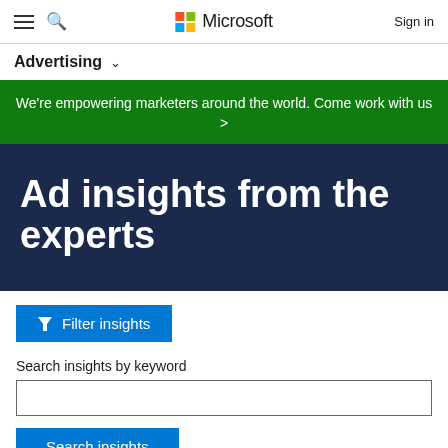Microsoft Advertising — Sign in
Advertising ∨
We're empowering marketers around the world. Come work with us >
Ad insights from the experts
Filter insights
Search insights by keyword
Search insights